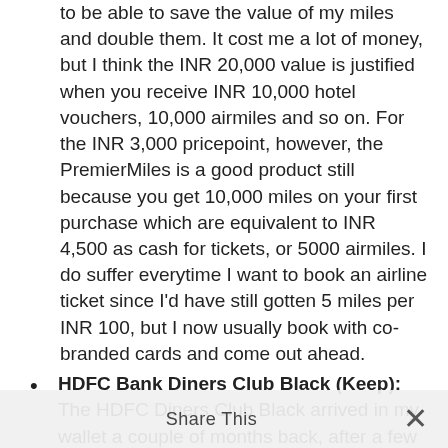to be able to save the value of my miles and double them. It cost me a lot of money, but I think the INR 20,000 value is justified when you receive INR 10,000 hotel vouchers, 10,000 airmiles and so on. For the INR 3,000 pricepoint, however, the PremierMiles is a good product still because you get 10,000 miles on your first purchase which are equivalent to INR 4,500 as cash for tickets, or 5000 airmiles. I do suffer everytime I want to book an airline ticket since I'd have still gotten 5 miles per INR 100, but I now usually book with co-branded cards and come out ahead.
HDFC Bank Diners Club Black (Keep): The HDFC Diners Club Black arrived in my wallet a couple of months back, after a few months of waiting. HDFC Bank was pretty selective about issuing these cards, and I really had to get my Relationship Manager to, so I can pleasantly...